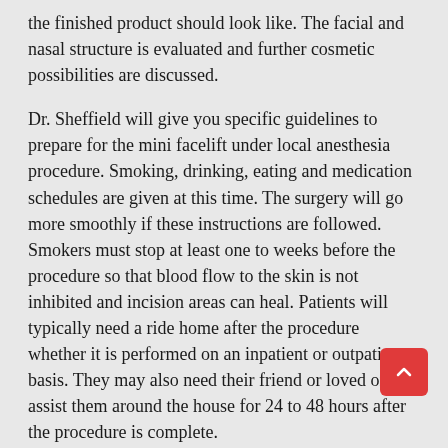the finished product should look like. The facial and nasal structure is evaluated and further cosmetic possibilities are discussed.
Dr. Sheffield will give you specific guidelines to prepare for the mini facelift under local anesthesia procedure. Smoking, drinking, eating and medication schedules are given at this time. The surgery will go more smoothly if these instructions are followed. Smokers must stop at least one to weeks before the procedure so that blood flow to the skin is not inhibited and incision areas can heal. Patients will typically need a ride home after the procedure whether it is performed on an inpatient or outpatient basis. They may also need their friend or loved one to assist them around the house for 24 to 48 hours after the procedure is complete.
What is a septoplasty? A septoplasty is often done